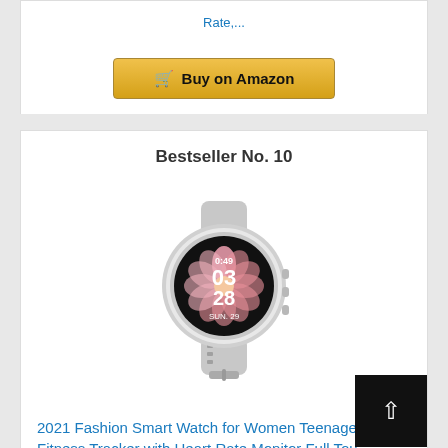Rate,...
Buy on Amazon
Bestseller No. 10
[Figure (photo): White/silver smartwatch with round dial showing pink flower face and time 03:28, SUN 29, with gray rubber band]
2021 Fashion Smart Watch for Women Teenagers Fitness Tracker with Heart Rate Monitor Full Tou
Buy on Amazon